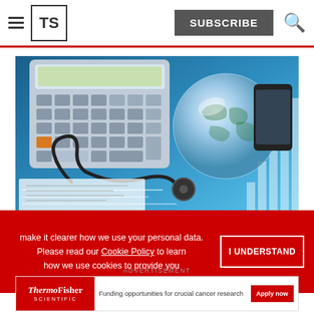TS | SUBSCRIBE
[Figure (photo): Medical finance concept photo showing a calculator, stethoscope, crystal globe, smartphone, and blue financial charts on a desk]
make it clearer how we use your personal data. Please read our Cookie Policy to learn how we use cookies to provide you
I UNDERSTAND
[Figure (other): ThermoFisher Scientific advertisement banner with text: Funding opportunities for crucial cancer research. Apply now button.]
ADVERTISEMENT